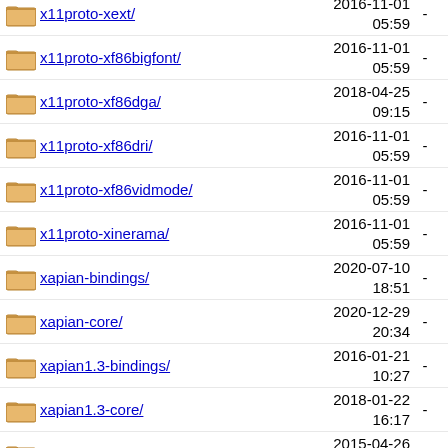x11proto-xext/ 2016-11-01 05:59 -
x11proto-xf86bigfont/ 2016-11-01 05:59 -
x11proto-xf86dga/ 2018-04-25 09:15 -
x11proto-xf86dri/ 2016-11-01 05:59 -
x11proto-xf86vidmode/ 2016-11-01 05:59 -
x11proto-xinerama/ 2016-11-01 05:59 -
xapian-bindings/ 2020-07-10 18:51 -
xapian-core/ 2020-12-29 20:34 -
xapian1.3-bindings/ 2016-01-21 10:27 -
xapian1.3-core/ 2018-01-22 16:17 -
xappy/ 2015-04-26 09:10 -